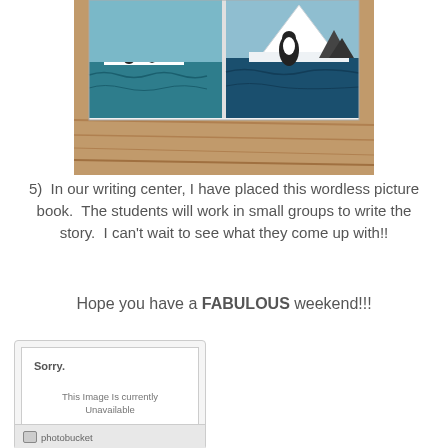[Figure (photo): Photo of an open wordless picture book showing two illustrated pages with penguins on icebergs in water, placed on a wooden surface]
5)  In our writing center, I have placed this wordless picture book.  The students will work in small groups to write the story.  I can't wait to see what they come up with!!
Hope you have a FABULOUS weekend!!!
[Figure (screenshot): Photobucket placeholder image showing 'Sorry. This Image Is Currently Unavailable' with photobucket logo at bottom]